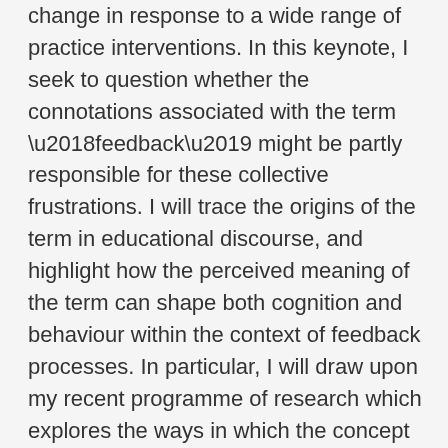change in response to a wide range of practice interventions. In this keynote, I seek to question whether the connotations associated with the term ‘feedback’ might be partly responsible for these collective frustrations. I will trace the origins of the term in educational discourse, and highlight how the perceived meaning of the term can shape both cognition and behaviour within the context of feedback processes. In particular, I will draw upon my recent programme of research which explores the ways in which the concept of feedback is framed in the research literature, in strategic documentation, in metrics, and in practice. I will invite delegates to consider an alternative higher education landscape where the very notion of ‘feedback’ is questioned and repositioned, through addressing two critical questions: How does the discourse of feedback influence the ways in which feedback processes are